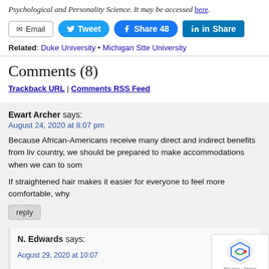Psychological and Personality Science. It may be accessed here.
[Figure (other): Social share buttons: Email, Tweet, Facebook Share 48, LinkedIn Share]
Related: Duke University • Michigan Stte University
Comments (8)
Trackback URL | Comments RSS Feed
Ewart Archer says:
August 24, 2020 at 8:07 pm
Because African-Americans receive many direct and indirect benefits from liv country, we should be prepared to make accommodations when we can to som
If straightened hair makes it easier for everyone to feel more comfortable, why
reply
N. Edwards says: